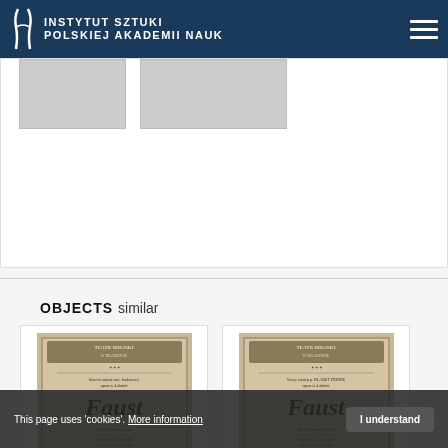[Figure (logo): Instytut Sztuki Polskiej Akademii Nauk logo — white text and stylized book/figure icon on dark blue header bar]
[Figure (screenshot): Partial view of a web page card area with two gray thumbnail placeholders]
OBJECTS similar
[Figure (photo): Old theater playbill for Teatr Miejski w Krakowie showing 'Faust' in large bold letters]
[Figure (photo): Old theater playbill for Teatr Miejski w Krakowie showing 'Faust' in large bold letters, slightly different edition]
This page uses 'cookies'. More information
I understand